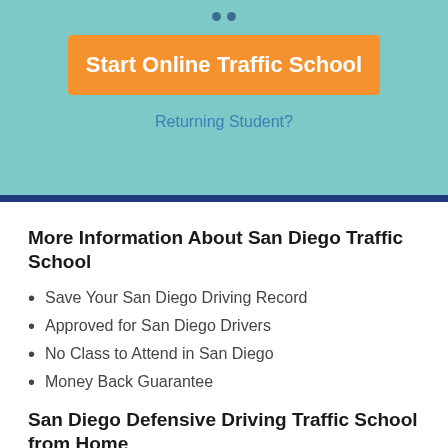[Figure (screenshot): Two small dark blue dots (pagination indicators) at the top of a teal/light-blue background section]
Start Online Traffic School
Returning Student?
More Information About San Diego Traffic School
Save Your San Diego Driving Record
Approved for San Diego Drivers
No Class to Attend in San Diego
Money Back Guarantee
San Diego Defensive Driving Traffic School from Home